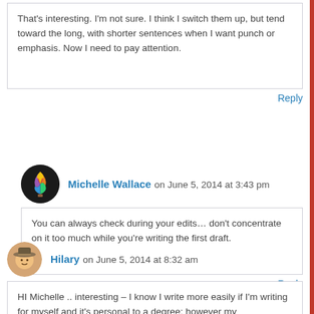That's interesting. I'm not sure. I think I switch them up, but tend toward the long, with shorter sentences when I want punch or emphasis. Now I need to pay attention.
Reply
Michelle Wallace on June 5, 2014 at 3:43 pm
You can always check during your edits… don't concentrate on it too much while you're writing the first draft.
Reply
Hilary on June 5, 2014 at 8:32 am
HI Michelle .. interesting – I know I write more easily if I'm writing for myself and it's personal to a degree; however my